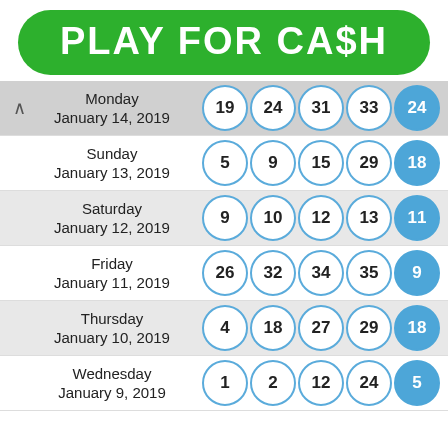PLAY FOR CA$H
| Date | N1 | N2 | N3 | N4 | Cash Ball |
| --- | --- | --- | --- | --- | --- |
| Monday January 14, 2019 | 19 | 24 | 31 | 33 | 24 |
| Sunday January 13, 2019 | 5 | 9 | 15 | 29 | 18 |
| Saturday January 12, 2019 | 9 | 10 | 12 | 13 | 11 |
| Friday January 11, 2019 | 26 | 32 | 34 | 35 | 9 |
| Thursday January 10, 2019 | 4 | 18 | 27 | 29 | 18 |
| Wednesday January 9, 2019 | 1 | 2 | 12 | 24 | 5 |